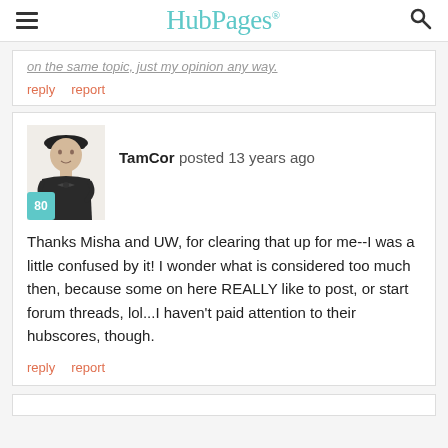HubPages
on the same topic, just my opinion any way.
reply   report
TamCor posted 13 years ago
Thanks Misha and UW, for clearing that up for me--I was a little confused by it! I wonder what is considered too much then, because some on here REALLY like to post, or start forum threads, lol...I haven't paid attention to their hubscores, though.
reply   report